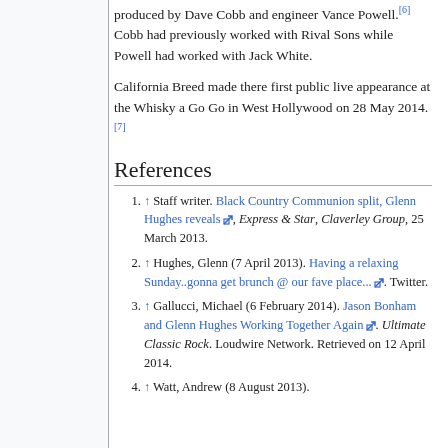produced by Dave Cobb and engineer Vance Powell.[6] Cobb had previously worked with Rival Sons while Powell had worked with Jack White.
California Breed made there first public live appearance at the Whisky a Go Go in West Hollywood on 28 May 2014.[7]
References
↑ Staff writer. Black Country Communion split, Glenn Hughes reveals, Express & Star, Claverley Group, 25 March 2013.
↑ Hughes, Glenn (7 April 2013). Having a relaxing Sunday..gonna get brunch @ our fave place.... Twitter.
↑ Gallucci, Michael (6 February 2014). Jason Bonham and Glenn Hughes Working Together Again. Ultimate Classic Rock. Loudwire Network. Retrieved on 12 April 2014.
↑ Watt, Andrew (8 August 2013). Something something...